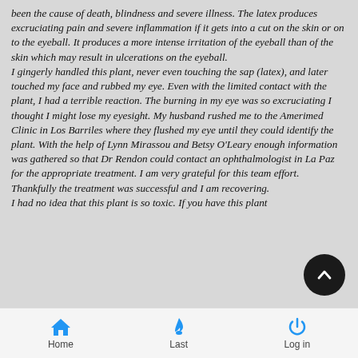been the cause of death, blindness and severe illness. The latex produces excruciating pain and severe inflammation if it gets into a cut on the skin or on to the eyeball. It produces a more intense irritation of the eyeball than of the skin which may result in ulcerations on the eyeball.
I gingerly handled this plant, never even touching the sap (latex), and later touched my face and rubbed my eye. Even with the limited contact with the plant, I had a terrible reaction. The burning in my eye was so excruciating I thought I might lose my eyesight. My husband rushed me to the Amerimed Clinic in Los Barriles where they flushed my eye until they could identify the plant. With the help of Lynn Mirassou and Betsy O'Leary enough information was gathered so that Dr Rendon could contact an ophthalmologist in La Paz for the appropriate treatment. I am very grateful for this team effort. Thankfully the treatment was successful and I am recovering.
I had no idea that this plant is so toxic. If you have this plant
Home  Last  Log in